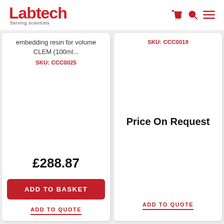Labtech — Serving scientists
embedding resin for volume CLEM (100ml...
SKU: CCC0025
£288.87
ADD TO BASKET
ADD TO QUOTE
SKU: CCC0019
Price On Request
ADD TO QUOTE